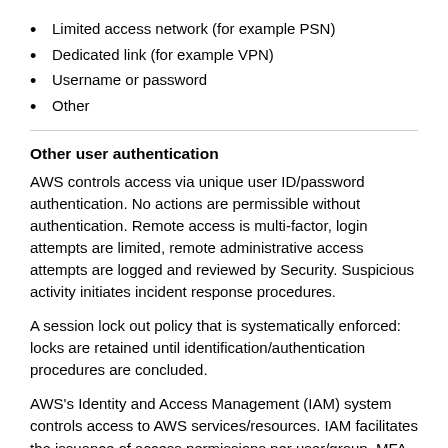Limited access network (for example PSN)
Dedicated link (for example VPN)
Username or password
Other
Other user authentication
AWS controls access via unique user ID/password authentication. No actions are permissible without authentication. Remote access is multi-factor, login attempts are limited, remote administrative access attempts are logged and reviewed by Security. Suspicious activity initiates incident response procedures.
A session lock out policy that is systematically enforced: locks are retained until identification/authentication procedures are concluded.
AWS's Identity and Access Management (IAM) system controls access to AWS services/resources. IAM facilitates the issuance of access permissions per user/group. MFA is available at no extra cost.